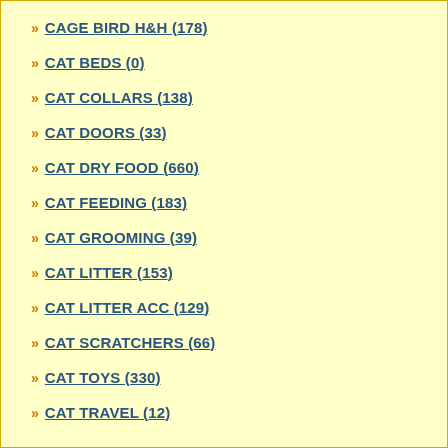» CAGE BIRD H&H (178)
» CAT BEDS (0)
» CAT COLLARS (138)
» CAT DOORS (33)
» CAT DRY FOOD (660)
» CAT FEEDING (183)
» CAT GROOMING (39)
» CAT LITTER (153)
» CAT LITTER ACC (129)
» CAT SCRATCHERS (66)
» CAT TOYS (330)
» CAT TRAVEL (12)